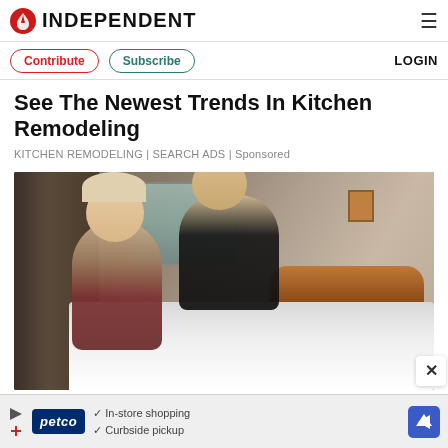INDEPENDENT
Contribute  Subscribe  LOGIN
See The Newest Trends In Kitchen Remodeling
KITCHEN REMODELING | SEARCH ADS | Sponsored
[Figure (photo): A middle-aged couple standing beside a bed in a bedroom. A woman with blonde hair and glasses wearing a striped jumper stands on the left, and a man in a dark top leans over the white bed covers on the right. A wooden headboard and a small picture on the wall are visible in the background.]
In-store shopping  Curbside pickup